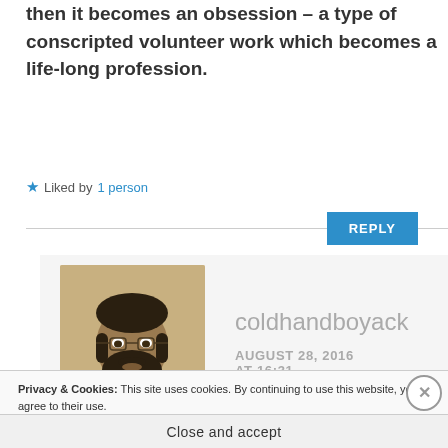then it becomes an obsession – a type of conscripted volunteer work which becomes a life-long profession.
★ Liked by 1 person
REPLY
[Figure (photo): Avatar photo of user coldhandboyack, showing a bearded man in vintage portrait style]
coldhandboyack
AUGUST 28, 2016 AT 16:31
Privacy & Cookies: This site uses cookies. By continuing to use this website, you agree to their use.
To find out more, including how to control cookies, see here: Cookie Policy
Close and accept